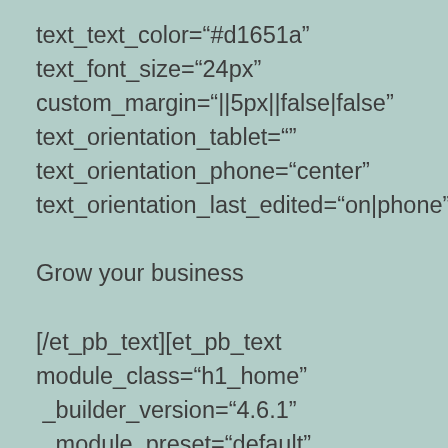text_text_color="#d1651a"
text_font_size="24px"
custom_margin="||5px||false|false"
text_orientation_tablet=""
text_orientation_phone="center"
text_orientation_last_edited="on|phone"]

Grow your business

[/et_pb_text][et_pb_text module_class="h1_home" _builder_version="4.6.1" _module_preset="default" header_font="Work Sans|800||on||||" header_text_color="#ffffff"